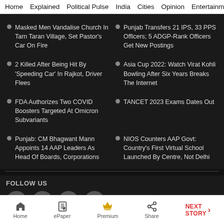Home  Explained  Political Pulse  India  Cities  Opinion  Entertainment
Masked Men Vandalise Church In Tarn Taran Village, Set Pastor's Car On Fire
Punjab Transfers 21 IPS, 33 PPS Officers; 5 ADGP-Rank Officers Get New Postings
2 Killed After Being Hit By 'Speeding Car' In Rajkot, Driver Flees
Asia Cup 2022: Watch Virat Kohli Bowling After Six Years Breaks The Internet
FDA Authorizes Two COVID Boosters Targeted At Omicron Subvariants
TANCET 2023 Exams Dates Out
Punjab: CM Bhagwant Mann Appoints 14 AAP Leaders As Head Of Boards, Corporations
NIOS Counters AAP Govt: Country's First Virtual School Launched By Centre, Not Delhi
FOLLOW US
Home  ePaper  Premium  Share  NEXT STORY